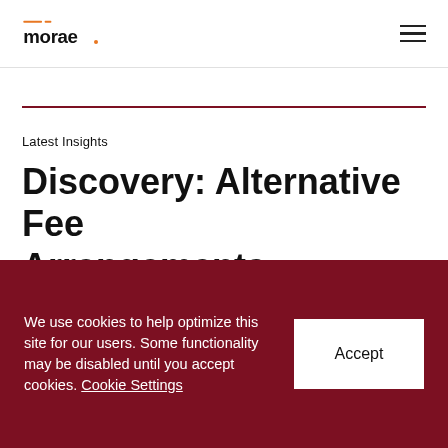morae [logo] [hamburger menu]
Latest Insights
Discovery: Alternative Fee Arrangements
November 2, 2020
We use cookies to help optimize this site for our users. Some functionality may be disabled until you accept cookies. Cookie Settings  Accept